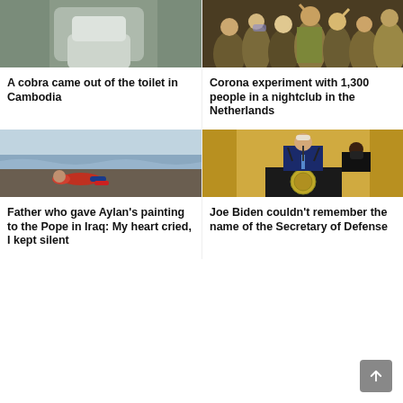[Figure (photo): Close-up of a toilet/bathroom fixture from above, grey-green tones]
A cobra came out of the toilet in Cambodia
[Figure (photo): Crowd of people at a nightclub event, some wearing masks, golden/olive tones]
Corona experiment with 1,300 people in a nightclub in the Netherlands
[Figure (photo): Child lying face-down on a beach shoreline, waves, dark sand]
Father who gave Aylan's painting to the Pope in Iraq: My heart cried, I kept silent
[Figure (photo): Joe Biden standing at a presidential podium/lectern with another person beside him, gold curtains background]
Joe Biden couldn't remember the name of the Secretary of Defense